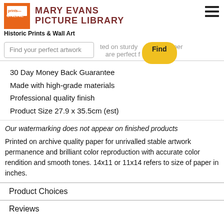prints ONLINE MARY EVANS PICTURE LIBRARY
Historic Prints & Wall Art
Find your perfect artwork
30 Day Money Back Guarantee
Made with high-grade materials
Professional quality finish
Product Size 27.9 x 35.5cm (est)
Our watermarking does not appear on finished products
Printed on archive quality paper for unrivalled stable artwork permanence and brilliant color reproduction with accurate color rendition and smooth tones. 14x11 or 11x14 refers to size of paper in inches.
Product Choices
Reviews